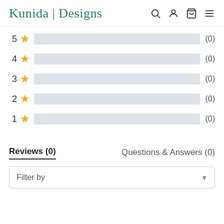Kunida | Designs
[Figure (infographic): Rating breakdown bars: 5 stars (0), 4 stars (0), 3 stars (0), 2 stars (0), 1 star (0), all showing empty gray bars]
Reviews (0)   Questions & Answers (0)
Filter by